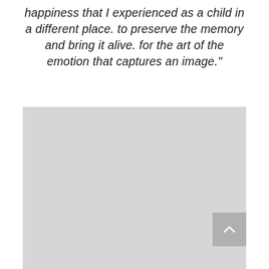happiness that I experienced as a child in a different place. to preserve the memory and bring it alive. for the art of the emotion that captures an image."
[Figure (photo): A large light gray placeholder image block occupying the lower portion of the page, with a darker gray scroll-to-top button in the bottom right corner containing an upward-pointing chevron arrow.]